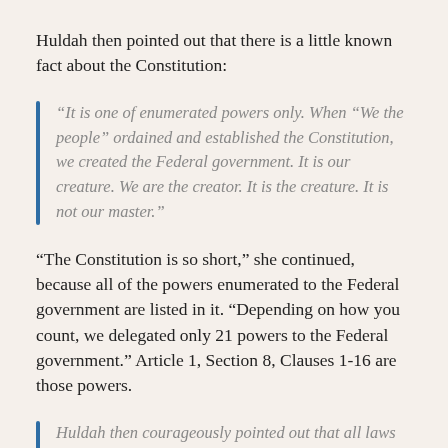Huldah then pointed out that there is a little known fact about the Constitution:
“It is one of enumerated powers only. When “We the people” ordained and established the Constitution, we created the Federal government. It is our creature. We are the creator. It is the creature. It is not our master.”
“The Constitution is so short,” she continued, because all of the powers enumerated to the Federal government are listed in it. “Depending on how you count, we delegated only 21 powers to the Federal government.” Article 1, Section 8, Clauses 1-16 are those powers.
Huldah then courageously pointed out that all laws made by Congress, any restrictions imposed by the